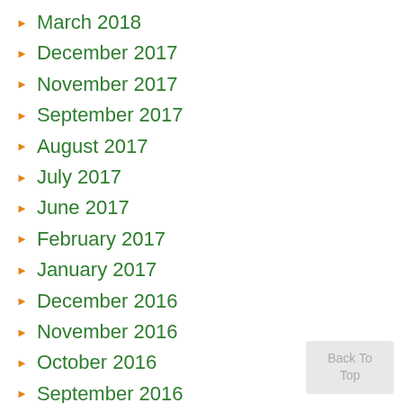March 2018
December 2017
November 2017
September 2017
August 2017
July 2017
June 2017
February 2017
January 2017
December 2016
November 2016
October 2016
September 2016
August 2016
Back To Top